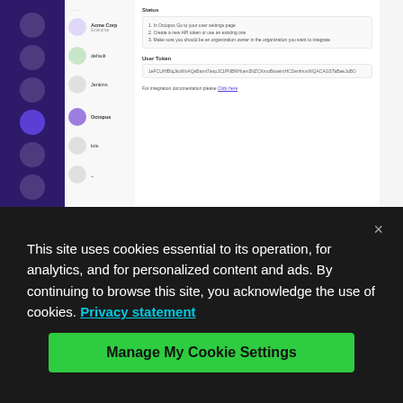[Figure (screenshot): Screenshot of a web application UI showing an installation/setup wizard with a sidebar, sub-navigation, status section with steps, a user token field, documentation link, and a NEXT button.]
Once you select the organization and workspaces in which you want to include Run
This site uses cookies essential to its operation, for analytics, and for personalized content and ads. By continuing to browse this site, you acknowledge the use of cookies. Privacy statement
Manage My Cookie Settings